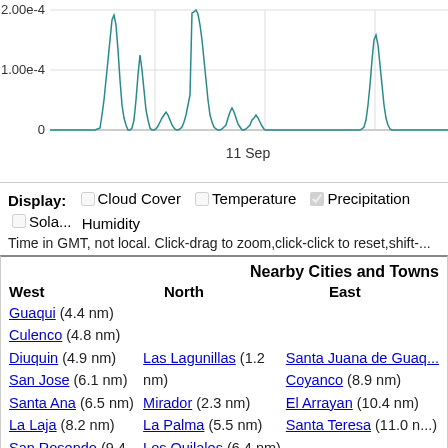[Figure (continuous-plot): Time series chart showing precipitation data with peaks around 2.00e-4, x-axis label '11 Sep', y-axis labels 0, 1.00e-4, 2.00e-4]
Display: ☐ Cloud Cover ☐ Temperature ☑ Precipitation ☐ Sola... Humidity
Time in GMT, not local. Click-drag to zoom,click-click to reset,shift-...
| West | North | East |
| --- | --- | --- |
| Guaqui (4.4 nm) |  |  |
| Culenco (4.8 nm) |  |  |
| Diuquin (4.9 nm) | Las Lagunillas (1.2 nm) | Santa Juana de Guaq... |
| San Jose (6.1 nm) | Mirador (2.3 nm) | Coyanco (8.9 nm) |
| Santa Ana (6.5 nm) | La Palma (5.5 nm) | El Arrayan (10.4 nm) |
| La Laja (8.2 nm) | Los Quilales (6.4 nm) | Santa Teresa (11.0 n...) |
| San Rosendo (9.4 nm) |  |  |
| Villapoda (9.5 nm) |  |  |
Nearby Airports